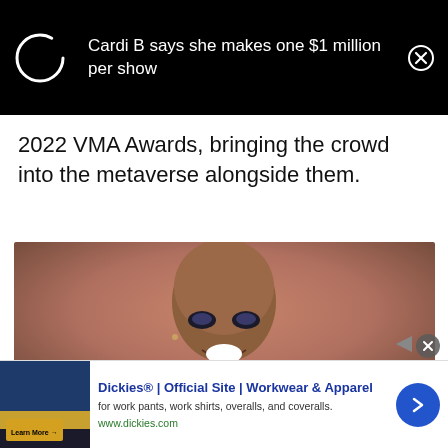[Figure (screenshot): Black notification banner with spinning loader circle on left, text 'Cardi B says she makes one $1 million per show' in white, and X close button on right]
2022 VMA Awards, bringing the crowd into the metaverse alongside them.
[Figure (photo): Close-up portrait of a smiling bald woman with dramatic eye makeup against a warm pinkish-orange background]
[Figure (screenshot): Advertisement banner for Dickies Official Site - Workwear and Apparel. Shows ad image on left with text 'DE IN DICK', ad title in blue, subtext about work pants, work shirts, overalls, and coveralls, url www.dickies.com, and blue arrow button on right]